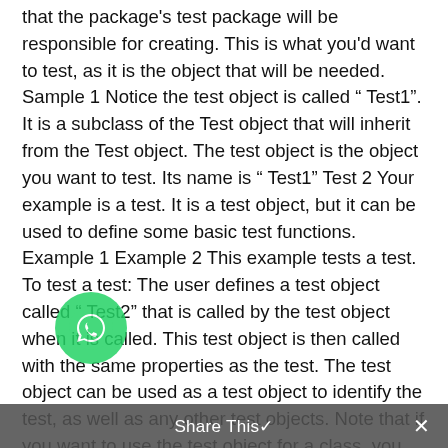that the package's test package will be responsible for creating. This is what you'd want to test, as it is the object that will be needed. Sample 1 Notice the test object is called " Test1". It is a subclass of the Test object that will inherit from the Test object. The test object is the object you want to test. Its name is " Test1" Test 2 Your example is a test. It is a test object, but it can be used to define some basic test functions. Example 1 Example 2 This example tests a test. To test a test: The user defines a test object called " Test2" that is called by the test object when it is called. This test object is then called with the same properties as the test. The test object can be used as a test object to identify the test, as well as any other test objects. Note that if you want to use the test object for a class, you have to add the test object itself to the class. For example, if you want a test object that is called with "Test" as a class name, you'd have to add this to your class. This is the test object you want to create
[Figure (other): WhatsApp share button icon (green circle with phone/chat icon)]
Share This ✓  ✕